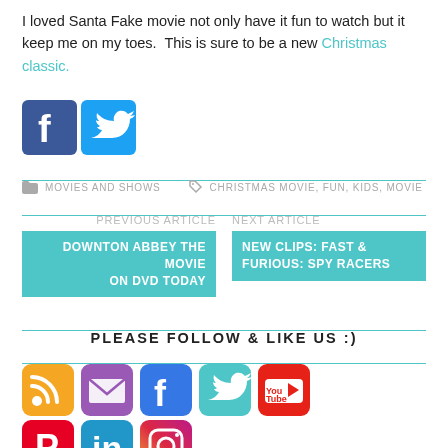I loved Santa Fake movie not only have it fun to watch but it keep me on my toes.  This is sure to be a new Christmas classic.
[Figure (illustration): Facebook and Twitter social share icons (blue square Facebook logo and blue Twitter bird logo)]
MOVIES AND SHOWS   CHRISTMAS MOVIE, FUN, KIDS, MOVIE
PREVIOUS ARTICLE
DOWNTON ABBEY THE MOVIE ON DVD TODAY
NEXT ARTICLE
NEW CLIPS: FAST & FURIOUS: SPY RACERS
PLEASE FOLLOW & LIKE US :)
[Figure (illustration): Row of social media icons: RSS (orange), Email (purple), Facebook (blue), Twitter (teal), YouTube (red/white)]
[Figure (illustration): Second row of social media icons: Pinterest (red), LinkedIn (blue), Instagram (gradient)]